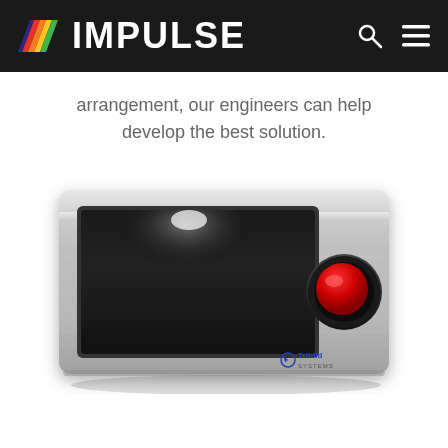IMPULSE
arrangement, our engineers can help develop the best solution.
[Figure (photo): Industrial panel-mount touchscreen display with a large red joystick/trackball button on the right side, mounted in a brushed stainless steel enclosure. The Trifold Systems logo is visible in the lower right corner of the unit.]